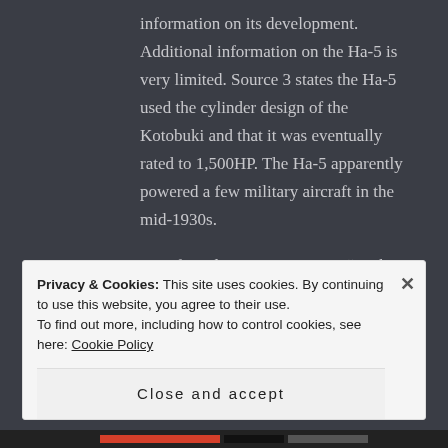information on its development. Additional information on the Ha-5 is very limited. Source 3 states the Ha-5 used the cylinder design of the Kotobuki and that it was eventually rated to 1,500HP. The Ha-5 apparently powered a few military aircraft in the mid-1930s.
Significantly, Source 3 states, “At the same time, an engine was developed upon the Navy’s request called “Sakae”, of which the Army name was Ha-25.” Th...
Privacy & Cookies: This site uses cookies. By continuing to use this website, you agree to their use.
To find out more, including how to control cookies, see here: Cookie Policy
Close and accept